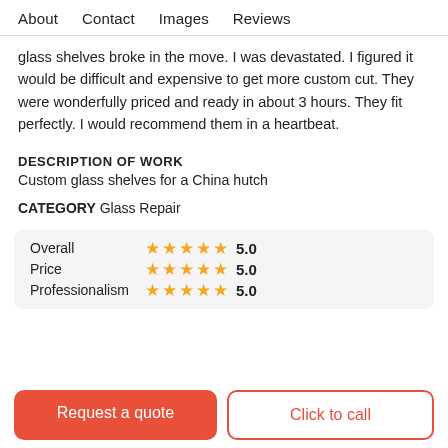About   Contact   Images   Reviews
glass shelves broke in the move. I was devastated. I figured it would be difficult and expensive to get more custom cut. They were wonderfully priced and ready in about 3 hours. They fit perfectly. I would recommend them in a heartbeat.
DESCRIPTION OF WORK
Custom glass shelves for a China hutch
CATEGORY Glass Repair
| Category | Stars | Score |
| --- | --- | --- |
| Overall | ★★★★★ | 5.0 |
| Price | ★★★★★ | 5.0 |
| Professionalism | ★★★★★ | 5.0 |
Request a quote
Click to call